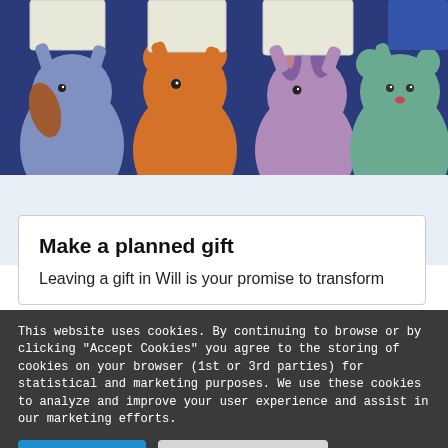[Figure (illustration): Cartoon illustration of four animal characters (a blue dog with brown ear, an orange bear/cat, a purple rabbit, and a green bear) holding up white signs/placards against a dark navy blue background.]
Make a planned gift
Leaving a gift in Will is your promise to transform
This website uses cookies. By continuing to browse or by clicking "Accept Cookies" you agree to the storing of cookies on your browser (1st or 3rd parties) for statistical and marketing purposes. We use these cookies to analyze and improve your user experience and assist in our marketing efforts.